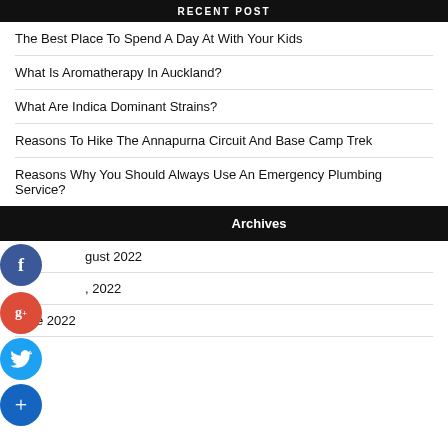RECENT POST
The Best Place To Spend A Day At With Your Kids
What Is Aromatherapy In Auckland?
What Are Indica Dominant Strains?
Reasons To Hike The Annapurna Circuit And Base Camp Trek
Reasons Why You Should Always Use An Emergency Plumbing Service?
Archives
August 2022
July 2022
June 2022